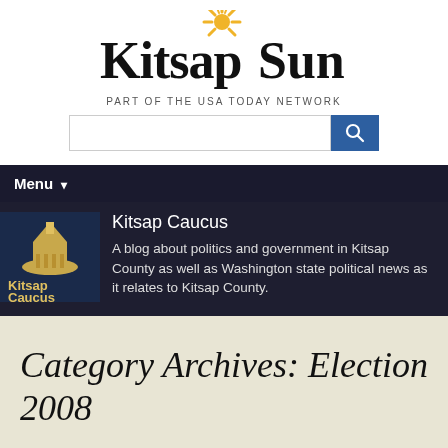[Figure (logo): Kitsap Sun newspaper logo with sun graphic above the text]
PART OF THE USA TODAY NETWORK
[Figure (screenshot): Search input field and blue search button]
Menu ▾
[Figure (illustration): Kitsap Caucus blog thumbnail image showing Capitol building]
Kitsap Caucus
A blog about politics and government in Kitsap County as well as Washington state political news as it relates to Kitsap County.
Category Archives: Election 2008